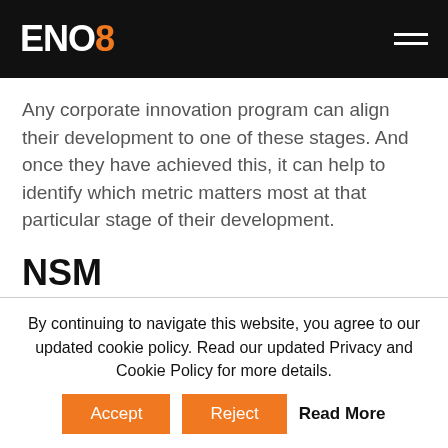ENO8
Any corporate innovation program can align their development to one of these stages. And once they have achieved this, it can help to identify which metric matters most at that particular stage of their development.
NSM
By continuing to navigate this website, you agree to our updated cookie policy. Read our updated Privacy and Cookie Policy for more details.